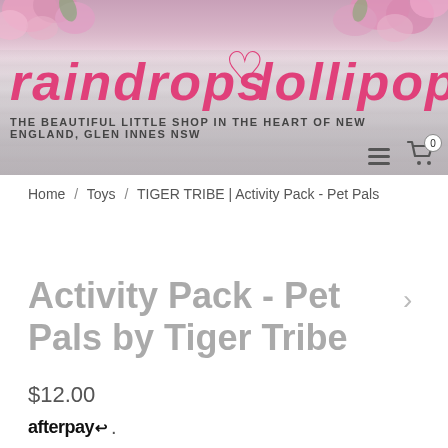[Figure (logo): Raindrops & Lollipops store header banner with pink flowers, wooden background, pink cursive logo text and heart symbol, tagline and navigation icons]
Home / Toys / TIGER TRIBE | Activity Pack - Pet Pals
Activity Pack - Pet Pals by Tiger Tribe
$12.00
afterpay↩ .